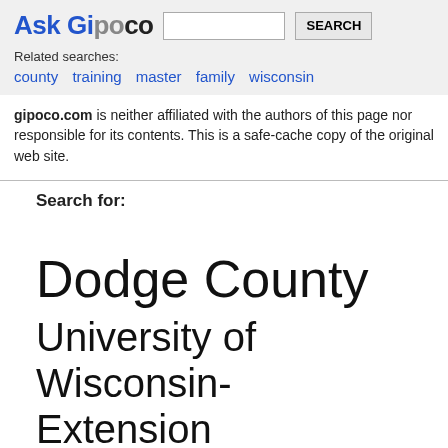Ask Gipoco
Related searches:
county  training  master  family  wisconsin
gipoco.com is neither affiliated with the authors of this page nor responsible for its contents. This is a safe-cache copy of the original web site.
Search for:
Dodge County
University of Wisconsin-Extension